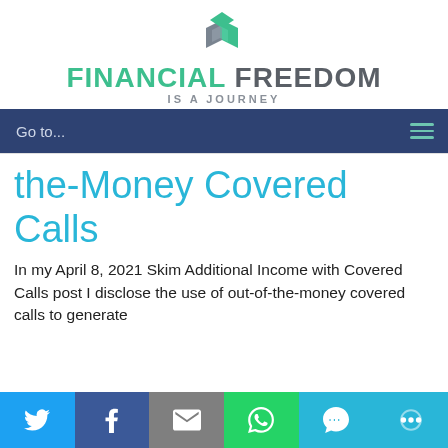[Figure (logo): Financial Freedom Is A Journey logo with geometric icon and text]
Go to...
the-Money Covered Calls
In my April 8, 2021 Skim Additional Income with Covered Calls post I disclose the use of out-of-the-money covered calls to generate